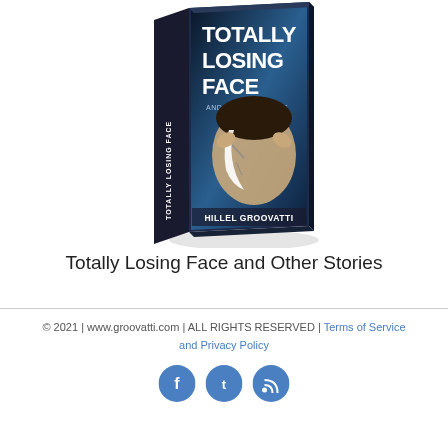[Figure (illustration): 3D book cover of 'Totally Losing Face and Other Stories' by Hillel Groovatti. The cover shows a figure holding a cracked mask revealing their face, with the title in large white bold letters and the author name at the bottom. The book is shown at an angle as a 3D perspective.]
Totally Losing Face and Other Stories
© 2021 | www.groovatti.com | ALL RIGHTS RESERVED | Terms of Service and Privacy Policy